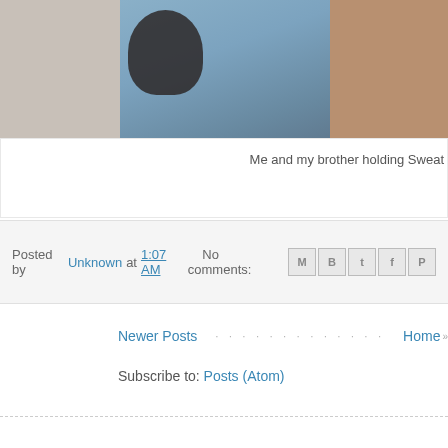[Figure (photo): Partial view of a blog page showing cropped photos — a person in a blue polka-dot garment, partial dark hair visible on left, partial image on right edge]
Me and my brother holding Sweat
Posted by Unknown at 1:07 AM   No comments:
Newer Posts   Home
Subscribe to: Posts (Atom)